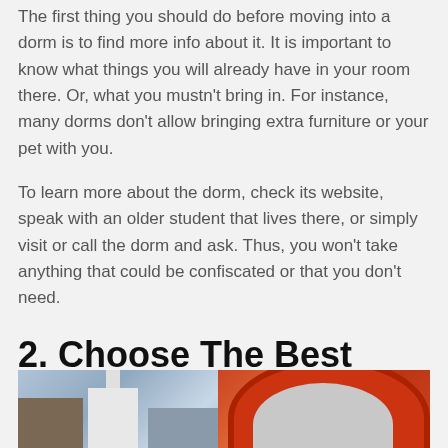The first thing you should do before moving into a dorm is to find more info about it. It is important to know what things you will already have in your room there. Or, what you mustn't bring in. For instance, many dorms don't allow bringing extra furniture or your pet with you.
To learn more about the dorm, check its website, speak with an older student that lives there, or simply visit or call the dorm and ask. Thus, you won't take anything that could be confiscated or that you don't need.
2. Choose The Best Period To Move
[Figure (photo): Photo strip showing two images side by side: left shows a white church with steeple and buildings in a town scene; right shows a red arched structure (possibly a telephone box or arch).]